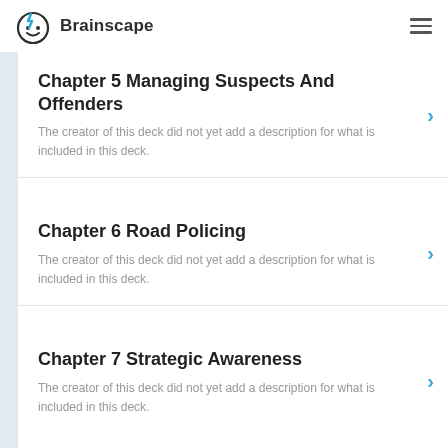Brainscape
Chapter 5 Managing Suspects And Offenders
The creator of this deck did not yet add a description for what is included in this deck.
Chapter 6 Road Policing
The creator of this deck did not yet add a description for what is included in this deck.
Chapter 7 Strategic Awareness
The creator of this deck did not yet add a description for what is included in this deck.